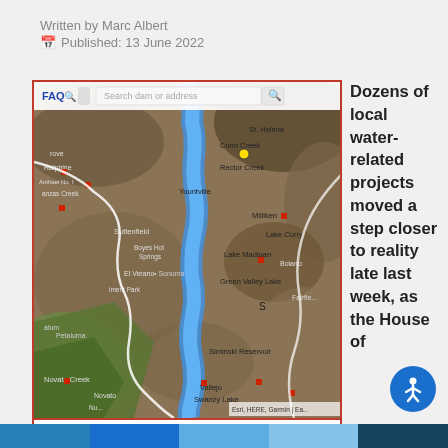Written by Marc Albert
Published: 13 June 2022
[Figure (map): Computer model map showing areas submerged (highlighted in blue along a river corridor) if Lake Hennessey's aging spillway failed. Shows Napa Valley region with locations including Conn Creek, Rector Creek, Yountville, Milliken, Lake Curry, Lake Madigan, Green Valley Lake, Sonoma, Petaluma, Novato Creek, Vallejo, Swanzy Lake, and other landmarks. Red square markers indicate dam locations. Interactive map with search bar at top showing 'Search dam or address'. Esri, HERE, Garmin attribution at bottom right.]
Computer model showing areas submerged if Lake Hennessey's aging spillway failed.
photo credit: California Department of Water Resources
Dozens of local water-related projects moved a step closer to reality late last week, as the House of